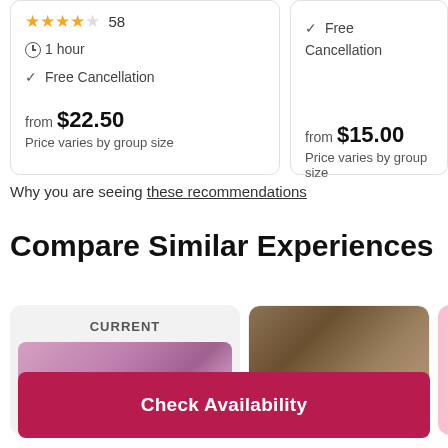★★★★☆ 58 — ⏱ 1 hour — ✓ Free Cancellation — from $22.50 — Price varies by group size
✓ Free Cancellation — from $15.00 — Price varies by group size
Why you are seeing these recommendations
Compare Similar Experiences
CURRENT
[Figure (photo): Pink/purple sunset sky photo thumbnail under CURRENT label]
[Figure (photo): Brown-toned portrait photo of a person with hair]
[Figure (photo): Pink partial thumbnail card]
Check Availability